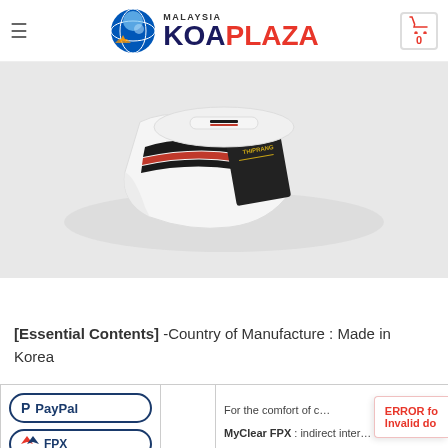KOA PLAZA MALAYSIA — Navigation header with logo and cart
[Figure (photo): Product photo of white ankle socks with black and red stripes, laid flat on a light gray surface with a branded hang tag]
[Essential Contents] -Country of Manufacture : Made in Korea
| Payment Methods |  | Description |
| --- | --- | --- |
| PayPal | FPX |  | For the comfort of c... | MyClear FPX : indirect inter... |
ERROR for: Invalid do